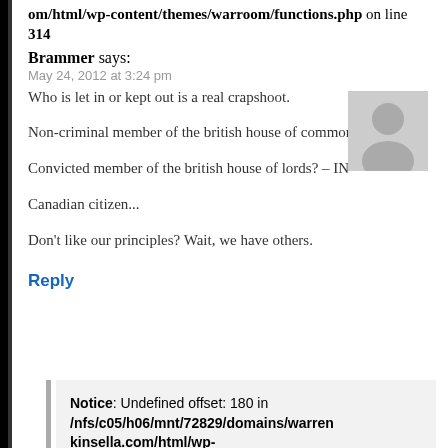om/html/wp-content/themes/warroom/functions.php on line 314
Brammer says:
May 24, 2012 at 3:24 pm
Who is let in or kept out is a real crapshoot.
Non-criminal member of the british house of commons? – OUT
Convicted member of the british house of lords? – IN
Canadian citizen...
Don't like our principles? Wait, we have others.
Reply
Notice: Undefined offset: 180 in /nfs/c05/h06/mnt/72829/domains/warrenkinsella.com/html/wp-content/themes/warroom/functions.php